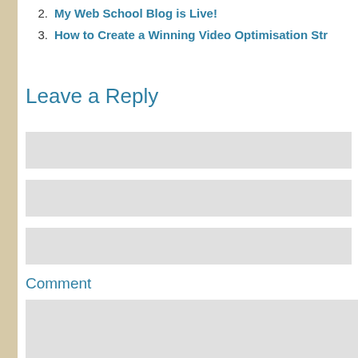2. My Web School Blog is Live!
3. How to Create a Winning Video Optimisation Str
Leave a Reply
[Figure (other): Empty input field 1 (text input box, light gray background)]
[Figure (other): Empty input field 2 (text input box, light gray background)]
[Figure (other): Empty input field 3 (text input box, light gray background)]
Comment
[Figure (other): Comment text area (large input box, light gray background)]